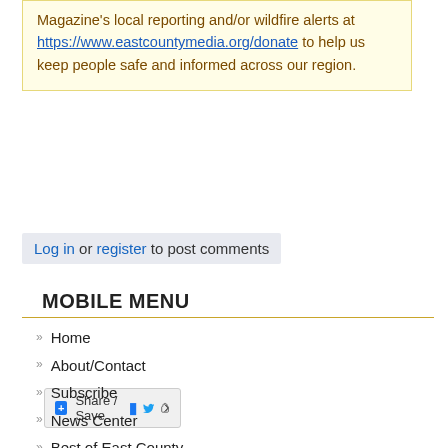Magazine's local reporting and/or wildfire alerts at https://www.eastcountymedia.org/donate to help us keep people safe and informed across our region.
[Figure (other): Share / Save social media buttons bar with Facebook, Twitter, and share icons]
Log in or register to post comments
MOBILE MENU
Home
About/Contact
Subscribe
News Center
Best of East County
Bookshelf
News issues